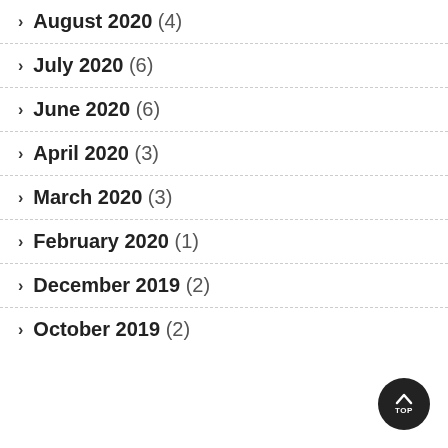August 2020 (4)
July 2020 (6)
June 2020 (6)
April 2020 (3)
March 2020 (3)
February 2020 (1)
December 2019 (2)
October 2019 (2)